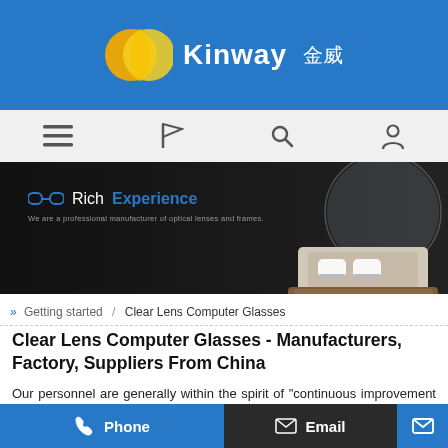[Figure (logo): Kinway (金威) company logo with orange/yellow circular icon on blue background]
[Figure (screenshot): Website navigation bar with menu, flag, search, and user icons on light grey background]
[Figure (photo): Hero banner showing optical lens on dark background with 'Rich Experience' text and subtitle 'We are a professional manufacturer of optical lenses and frames.']
» Getting started / Clear Lens Computer Glasses
Clear Lens Computer Glasses - Manufacturers, Factory, Suppliers From China
Our personnel are generally within the spirit of "continuous improvement and excellence", and using the excellent top quality goods, favorable rate and superior after-sales expert services, we to strive to be a very good distributor for Clear Lens Computer...
Phone   Email